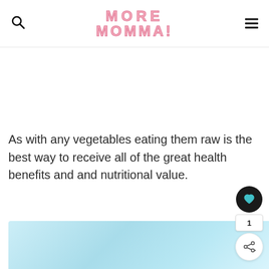MORE MOMMA!
As with any vegetables eating them raw is the best way to receive all of the great health benefits and and nutritional value.
[Figure (photo): Light blue blurred background image, likely showing a vegetable or food item in soft focus]